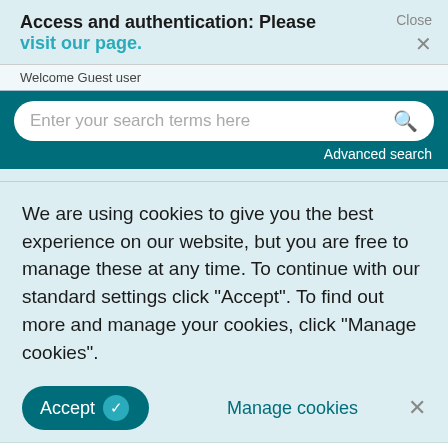Access and authentication: Please visit our page.
Close ×
Welcome Guest user
Enter your search terms here
Advanced search
We are using cookies to give you the best experience on our website, but you are free to manage these at any time. To continue with our standard settings click "Accept". To find out more and manage your cookies, click "Manage cookies".
Accept ✓   Manage cookies   ×
powder coatings for the oil and gas exploration market, which can extend drill pipe lifetime and